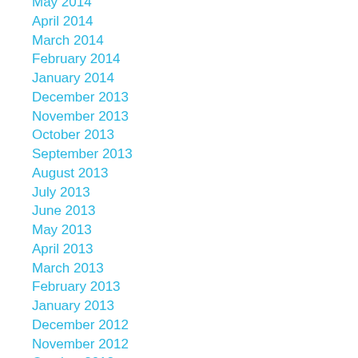May 2014
April 2014
March 2014
February 2014
January 2014
December 2013
November 2013
October 2013
September 2013
August 2013
July 2013
June 2013
May 2013
April 2013
March 2013
February 2013
January 2013
December 2012
November 2012
October 2012
September 2012
August 2012